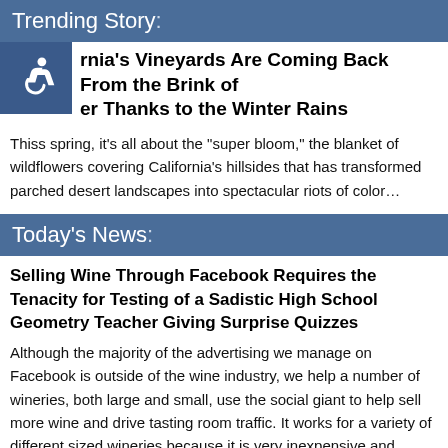Trending Story:
rnia's Vineyards Are Coming Back From the Brink of er Thanks to the Winter Rains
Thiss spring, it's all about the "super bloom," the blanket of wildflowers covering California's hillsides that has transformed parched desert landscapes into spectacular riots of color…
Today's News:
Selling Wine Through Facebook Requires the Tenacity for Testing of a Sadistic High School Geometry Teacher Giving Surprise Quizzes
Although the majority of the advertising we manage on Facebook is outside of the wine industry, we help a number of wineries, both large and small, use the social giant to help sell more wine and drive tasting room traffic. It works for a variety of different sized wineries because it is very inexpensive and totally scalable…